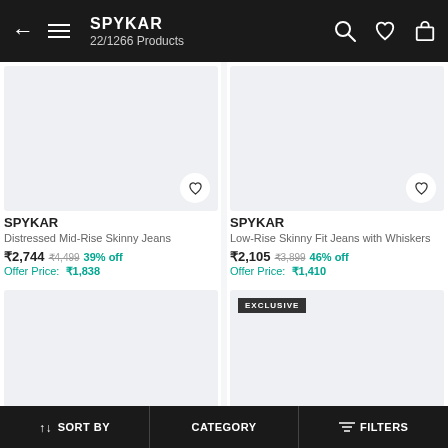SPYKAR 22/1266 Products
[Figure (screenshot): Product image placeholder for Distressed Mid-Rise Skinny Jeans]
SPYKAR
Distressed Mid-Rise Skinny Jeans
₹2,744  ₹4,499  39% off
Offer Price: ₹1,838
[Figure (screenshot): Product image placeholder for Low-Rise Skinny Fit Jeans with Whiskers]
SPYKAR
Low-Rise Skinny Fit Jeans with Whiskers
₹2,105  ₹3,899  46% off
Offer Price: ₹1,410
[Figure (screenshot): Product image placeholder bottom left]
[Figure (screenshot): Product image placeholder bottom right with EXCLUSIVE badge]
↑↓ SORT BY   CATEGORY   ≡ FILTERS